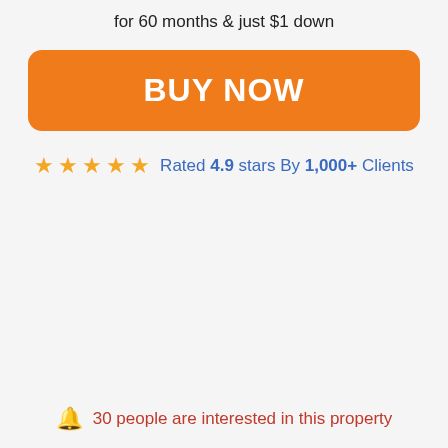for 60 months & just $1 down
BUY NOW
★ ★ ★ ★ ★ Rated 4.9 stars By 1,000+ Clients
🔔 30 people are interested in this property